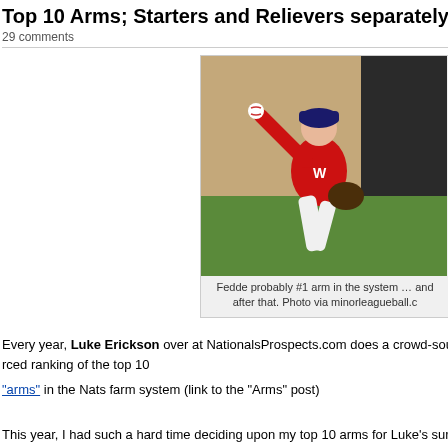Top 10 Arms; Starters and Relievers separately
29 comments
[Figure (photo): Baseball pitcher in red Washington Nationals uniform mid-throw, wearing navy cap]
Fedde probably #1 arm in the system … and after that. Photo via minorleagueball.c
Every year, Luke Erickson over at NationalsProspects.com does a crowd-sourced ranking of the top 10 "arms" in the Nats farm system (link to the "Arms" post)
This year, I had such a hard time deciding upon my top 10 arms for Luke's survey that I decided to write my own post on the subject, temporarily stealing Luke's idea.  I think its an interesting window into player development; we've spent the off-season trading away a significant amount of